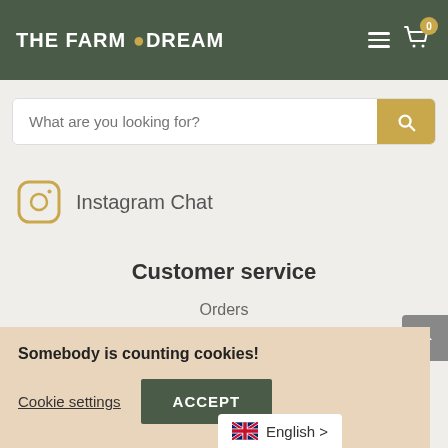THE FARM DREAM
What are you looking for?
Instagram Chat
Customer service
Orders
Helpdesk
Business inquiries
My account
Somebody is counting cookies!
Cookie settings   ACCEPT
English >